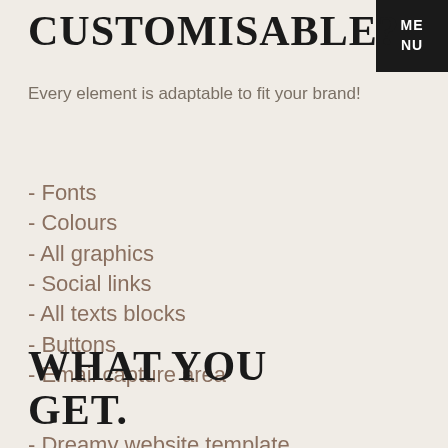CUSTOMISABLE?
Every element is adaptable to fit your brand!
- Fonts
- Colours
- All graphics
- Social links
- All texts blocks
- Buttons
- Email capture area
WHAT YOU GET.
- Dreamy website template
ME NU